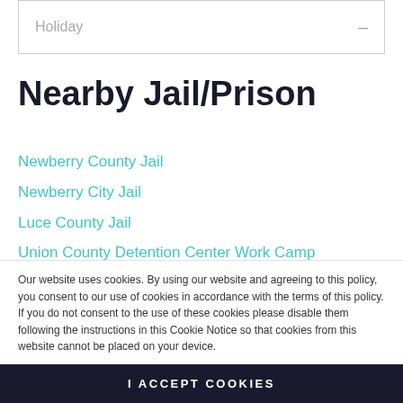Holiday  –
Nearby Jail/Prison
Newberry County Jail
Newberry City Jail
Luce County Jail
Union County Detention Center Work Camp
Union County Jail
Laurens City Jail
Our website uses cookies. By using our website and agreeing to this policy, you consent to our use of cookies in accordance with the terms of this policy. If you do not consent to the use of these cookies please disable them following the instructions in this Cookie Notice so that cookies from this website cannot be placed on your device.
I ACCEPT COOKIES